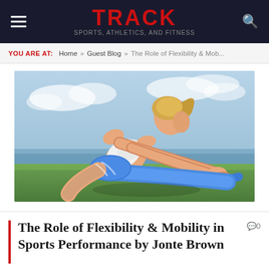TRACK
YOU ARE AT: Home » Guest Blog » The Role of Flexibility & Mob...
[Figure (photo): A blonde female athlete in a white sports bra and blue shorts stretching outdoors on grass, reaching forward toward her foot, with a cloudy sky and water in the background.]
The Role of Flexibility & Mobility in Sports Performance by Jonte Brown